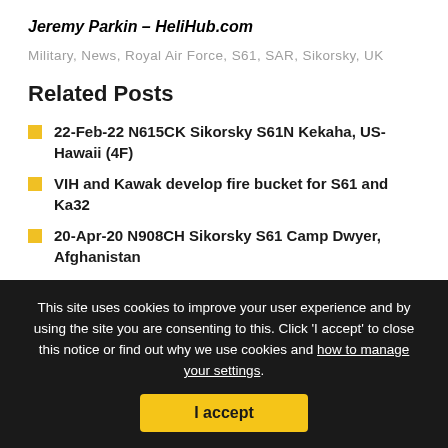Jeremy Parkin – HeliHub.com
Military, News, Royal Air Force, S61, SAR, Sikorsky, UK
Related Posts
22-Feb-22 N615CK Sikorsky S61N Kekaha, US-Hawaii (4F)
VIH and Kawak develop fire bucket for S61 and Ka32
20-Apr-20 N908CH Sikorsky S61 Camp Dwyer, Afghanistan
Sikorsky and United Aero Group sign S61 support agreement
Far East air force looking to lease eight utility
This site uses cookies to improve your user experience and by using the site you are consenting to this. Click 'I accept' to close this notice or find out why we use cookies and how to manage your settings.
I accept